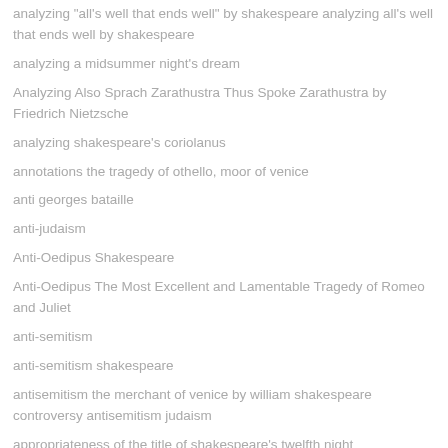analyzing "all's well that ends well" by shakespeare analyzing all's well that ends well by shakespeare
analyzing a midsummer night's dream
Analyzing Also Sprach Zarathustra Thus Spoke Zarathustra by Friedrich Nietzsche
analyzing shakespeare's coriolanus
annotations the tragedy of othello, moor of venice
anti georges bataille
anti-judaism
Anti-Oedipus Shakespeare
Anti-Oedipus The Most Excellent and Lamentable Tragedy of Romeo and Juliet
anti-semitism
anti-semitism shakespeare
antisemitism the merchant of venice by william shakespeare controversy antisemitism judaism
appropriateness of the title of shakespeare's twelfth night
Are there any problems with INFINITE JEST? What problems